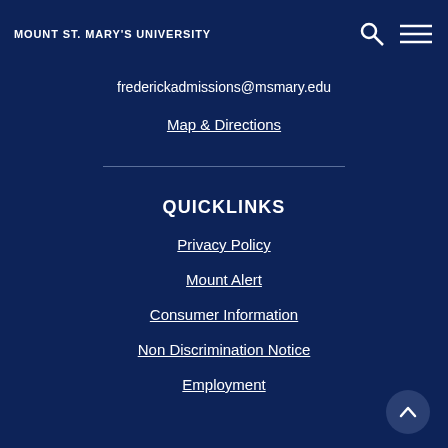MOUNT ST. MARY'S UNIVERSITY
frederickadmissions@msmary.edu
Map & Directions
QUICKLINKS
Privacy Policy
Mount Alert
Consumer Information
Non Discrimination Notice
Employment